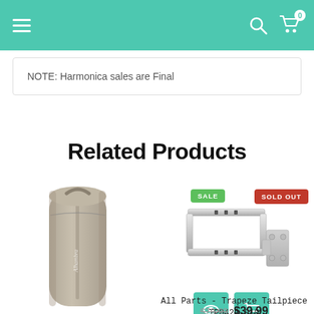Navigation header with hamburger menu, search icon, and cart (0)
NOTE: Harmonica sales are Final
Related Products
[Figure (photo): Alhambra guitar gig bag in grey/beige fabric]
[Figure (photo): All Parts Trapeze Tailpiece TP0429-010, chrome metal guitar part, with SALE and SOLD OUT badges and two teal action buttons (eye/cart)]
All Parts - Trapeze Tailpiece TP0429-010
$79.99 $39.99